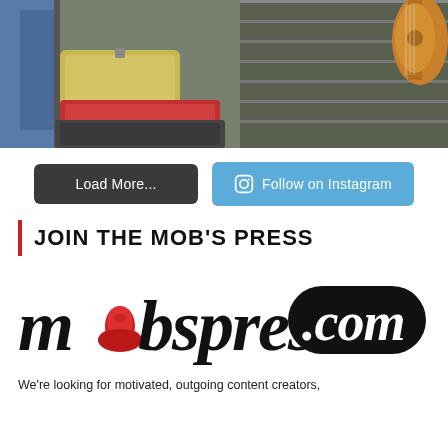[Figure (photo): Partial view of a person with a guitar and suitcases/luggage in a room with shelving]
Load More...
Follow on Instagram
JOIN THE MOB'S PRESS
[Figure (logo): mobspress.com logo — stylized italic text with a red fedora hat replacing the letter 'o' in mob, and .com in a black rounded rectangle]
We're looking for motivated, outgoing content creators,